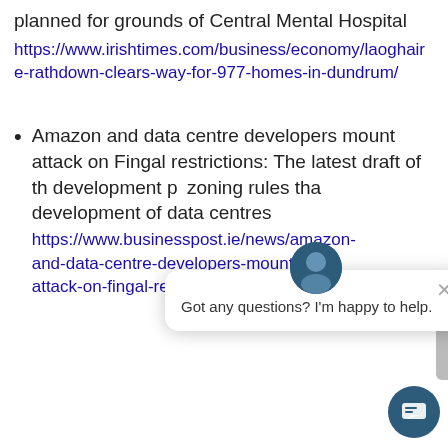planned for grounds of Central Mental Hospital
https://www.irishtimes.com/business/economy/laoghaire-rathdown-clears-way-for-977-homes-in-dundrum/
Amazon and data centre developers mount attack on Fingal restrictions: The latest draft of the development plan contains zoning rules that restrict development of data centres https://www.businesspost.ie/news/amazon-and-data-centre-developers-mount-attack-on-fingal-restrictions/